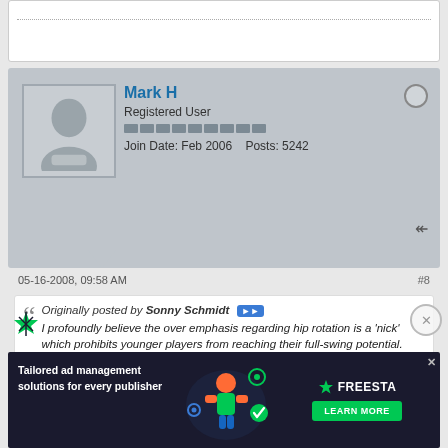[Figure (screenshot): Top white box with dotted border line]
Mark H
Registered User
Join Date: Feb 2006  Posts: 5242
05-16-2008, 09:58 AM  #8
Originally posted by Sonny Schmidt
I profoundly believe the over emphasis regarding hip rotation is a 'nick' which prohibits younger players from reaching their full-swing potential. That facts remain, when the swing initiated , the hips rotate 30% slower then the bathead - in which matches the velocity of the hands.
I challenge anyone with evidence to prove myself wrong.
I see plenty of info who over relate hip inside but doesn't use the hips etc well that's going to argue inference is to debate. Tom is your man for that. I'm on here to point parents and kids away from bad information, not to point-scored, elim...
[Figure (infographic): Advertisement banner: Tailored ad management solutions for every publisher - FREESTA - LEARN MORE]